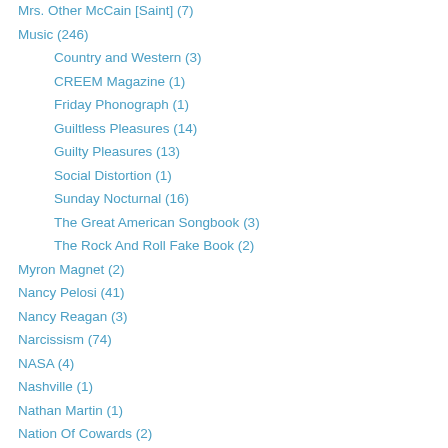Mrs. Other McCain [Saint] (7)
Music (246)
Country and Western (3)
CREEM Magazine (1)
Friday Phonograph (1)
Guiltless Pleasures (14)
Guilty Pleasures (13)
Social Distortion (1)
Sunday Nocturnal (16)
The Great American Songbook (3)
The Rock And Roll Fake Book (2)
Myron Magnet (2)
Nancy Pelosi (41)
Nancy Reagan (3)
Narcissism (74)
NASA (4)
Nashville (1)
Nathan Martin (1)
Nation Of Cowards (2)
National Bloggers Club (5)